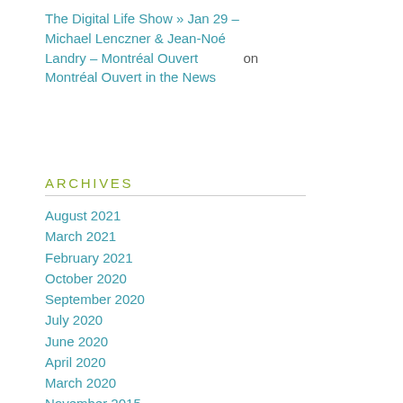The Digital Life Show » Jan 29 – Michael Lenczner & Jean-Noé Landry – Montréal Ouvert on Montréal Ouvert in the News
ARCHIVES
August 2021
March 2021
February 2021
October 2020
September 2020
July 2020
June 2020
April 2020
March 2020
November 2015
November 2014
June 2014
May 2014
December 2013
November 2013
September 2013